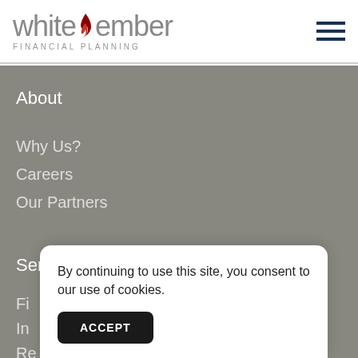[Figure (logo): White Ember Financial Planning logo with flame icon]
About
Why Us?
Careers
Our Partners
Services
Fi...
In...
Re...
By continuing to use this site, you consent to our use of cookies.